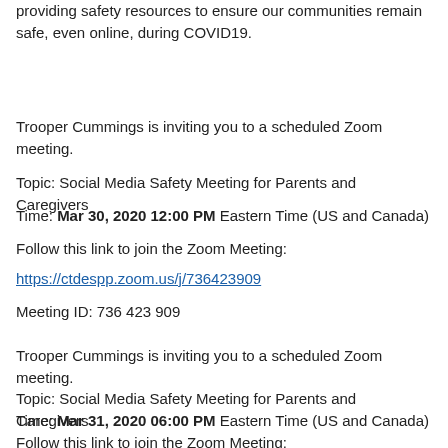providing safety resources to ensure our communities remain safe, even online, during COVID19.
Trooper Cummings is inviting you to a scheduled Zoom meeting.
Topic: Social Media Safety Meeting for Parents and Caregivers
Time: Mar 30, 2020 12:00 PM Eastern Time (US and Canada)
Follow this link to join the Zoom Meeting:
https://ctdespp.zoom.us/j/736423909
Meeting ID: 736 423 909
Trooper Cummings is inviting you to a scheduled Zoom meeting.
Topic: Social Media Safety Meeting for Parents and Caregivers
Time: Mar 31, 2020 06:00 PM Eastern Time (US and Canada)
Follow this link to join the Zoom Meeting: